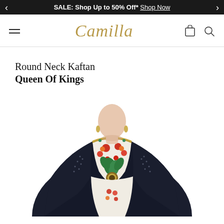SALE: Shop Up to 50% Off* Shop Now
[Figure (logo): Camilla brand logo in gold script font with hamburger menu, bag icon, and search icon]
Round Neck Kaftan
Queen Of Kings
[Figure (photo): Model wearing a Round Neck Kaftan in Queen Of Kings print - dark navy/black base with colorful floral and ornate pattern, shown from neck to mid-torso]